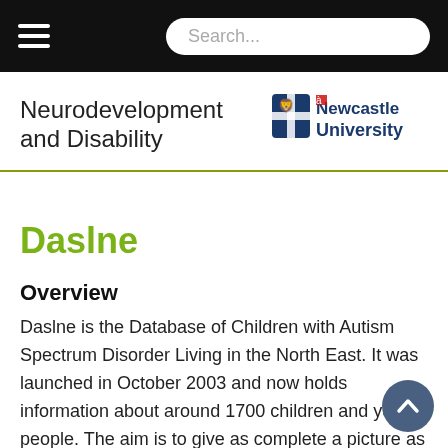Search...
Neurodevelopment and Disability
[Figure (logo): Newcastle University logo with crest and red lion, text reads 'Newcastle University']
Daslne
Overview
Daslne is the Database of Children with Autism Spectrum Disorder Living in the North East. It was launched in October 2003 and now holds information about around 1700 children and young people. The aim is to give as complete a picture as possible of the numbers and needs of children and